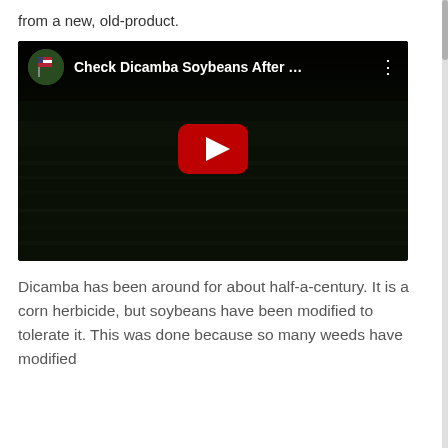from a new, old-product.
[Figure (screenshot): YouTube video embed showing a dark field of soybeans at dusk/night with the video title 'Check Dicamba Soybeans After ...' and a red play button in the center]
Dicamba has been around for about half-a-century. It is a corn herbicide, but soybeans have been modified to tolerate it. This was done because so many weeds have modified